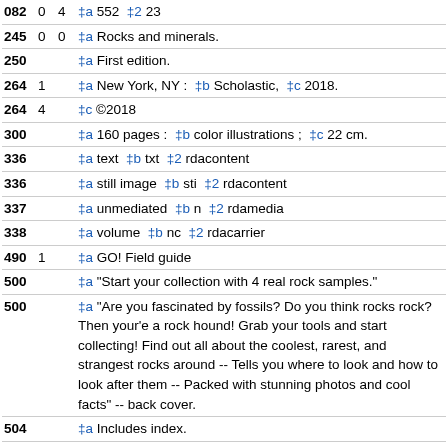| Tag | I1 | I2 | Data |
| --- | --- | --- | --- |
| 082 | 0 | 4 | ‡a 552  ‡2 23 |
| 245 | 0 | 0 | ‡a Rocks and minerals. |
| 250 |  |  | ‡a First edition. |
| 264 | 1 |  | ‡a New York, NY :  ‡b Scholastic,  ‡c 2018. |
| 264 | 4 |  | ‡c ©2018 |
| 300 |  |  | ‡a 160 pages :  ‡b color illustrations ;  ‡c 22 cm. |
| 336 |  |  | ‡a text  ‡b txt  ‡2 rdacontent |
| 336 |  |  | ‡a still image  ‡b sti  ‡2 rdacontent |
| 337 |  |  | ‡a unmediated  ‡b n  ‡2 rdamedia |
| 338 |  |  | ‡a volume  ‡b nc  ‡2 rdacarrier |
| 490 | 1 |  | ‡a GO! Field guide |
| 500 |  |  | ‡a "Start your collection with 4 real rock samples." |
| 500 |  |  | ‡a "Are you fascinated by fossils? Do you think rocks rock? Then your'e a rock hound! Grab your tools and start collecting! Find out all about the coolest, rarest, and strangest rocks around -- Tells you where to look and how to look after them -- Packed with stunning photos and cool facts" -- back cover. |
| 504 |  |  | ‡a Includes index. |
| 504 |  |  | ‡a Go collecting! -- Earth inside out -- Rock factory -- Get started! -- First steps -- Where to look -- In the field -- Great find... |